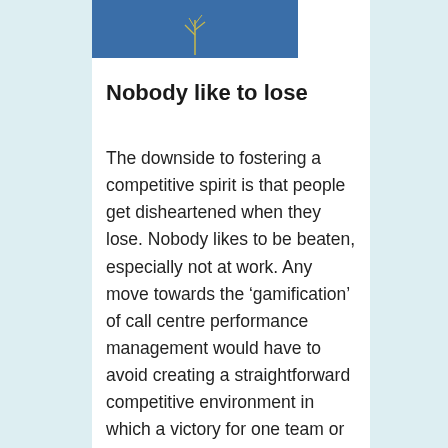[Figure (photo): A partial image with a blue background, appearing to show a person or object, cropped at the top of the page.]
Nobody like to lose
The downside to fostering a competitive spirit is that people get disheartened when they lose. Nobody likes to be beaten, especially not at work. Any move towards the ‘gamification’ of call centre performance management would have to avoid creating a straightforward competitive environment in which a victory for one team or employee would mean that someone else would lose.